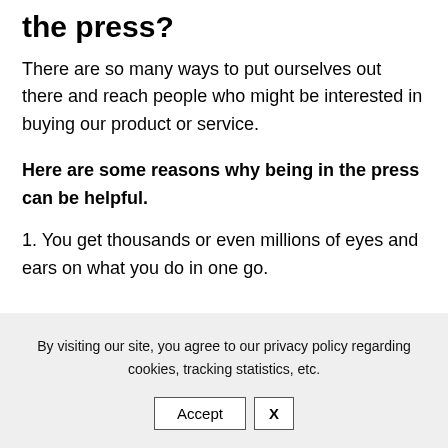the press?
There are so many ways to put ourselves out there and reach people who might be interested in buying our product or service.
Here are some reasons why being in the press can be helpful.
1. You get thousands or even millions of eyes and ears on what you do in one go.
By visiting our site, you agree to our privacy policy regarding cookies, tracking statistics, etc.